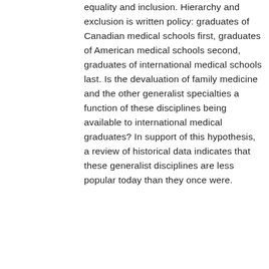equality and inclusion. Hierarchy and exclusion is written policy: graduates of Canadian medical schools first, graduates of American medical schools second, graduates of international medical schools last. Is the devaluation of family medicine and the other generalist specialties a function of these disciplines being available to international medical graduates? In support of this hypothesis, a review of historical data indicates that these generalist disciplines are less popular today than they once were.